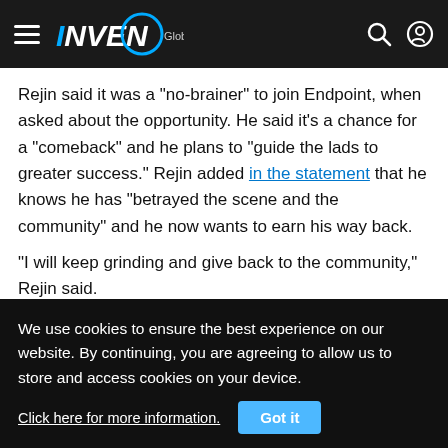INVEN Global
Rejin said it was a "no-brainer" to join Endpoint, when asked about the opportunity. He said it's a chance for a "comeback" and he plans to "guide the lads to greater success." Rejin added in the statement that he knows he has "betrayed the scene and the community" and he now wants to earn his way back.
"I will keep grinding and give back to the community," Rejin said.
Despite Rejin's use of the bug, Endpoint has also expressed
We use cookies to ensure the best experience on our website. By continuing, you are agreeing to allow us to store and access cookies on your device. Click here for more information. Got it